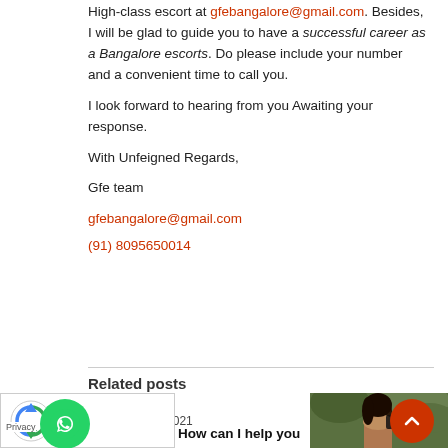High-class escort at gfebangalore@gmail.com. Besides, I will be glad to guide you to have a successful career as a Bangalore escorts. Do please include your number and a convenient time to call you.
I look forward to hearing from you Awaiting your response.
With Unfeigned Regards,
Gfe team
gfebangalore@gmail.com
(91) 8095650014
Related posts
January 27, 2021
[Figure (photo): Photo of a woman talking on the phone, with green foliage in background]
How can I help you